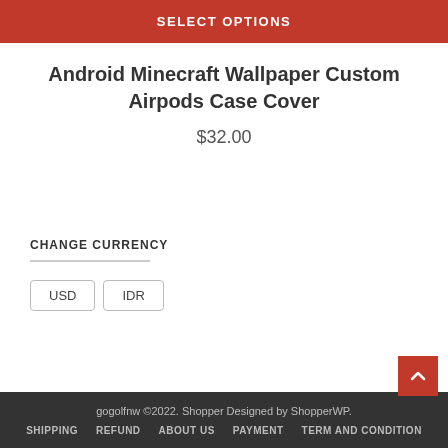SELECT OPTIONS
Android Minecraft Wallpaper Custom Airpods Case Cover
$32.00
CHANGE CURRENCY
USD
IDR
gogolfnw ©2022. Shopper Designed by ShopperWP.
SHIPPING   REFUND   ABOUT US   PAYMENT   TERM AND CONDITION